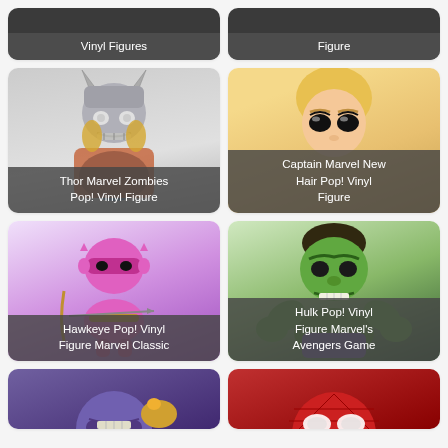[Figure (photo): Partial view of a Pop! Vinyl Figures product card - top portion visible with label 'Vinyl Figures']
[Figure (photo): Partial view of a Pop! Vinyl Figure product card - top portion visible with label 'Figure']
[Figure (photo): Thor Marvel Zombies Pop! Vinyl Figure product card showing zombie Thor figure]
[Figure (photo): Captain Marvel New Hair Pop! Vinyl Figure product card showing Captain Marvel figure]
[Figure (photo): Hawkeye Pop! Vinyl Figure Marvel Classic product card showing pink Hawkeye figure]
[Figure (photo): Hulk Pop! Vinyl Figure Marvel's Avengers Game product card showing green Hulk figure]
[Figure (photo): Partial view of Thanos product card - bottom portion visible]
[Figure (photo): Partial view of Spider-Man product card - bottom portion visible]